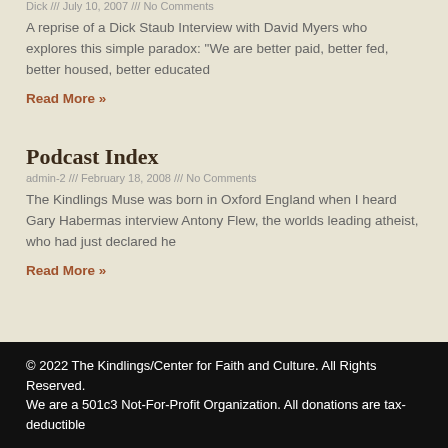Dick /// July 10, 2007 /// No Comments
A reprise of a Dick Staub Interview with David Myers who explores this simple paradox: "We are better paid, better fed, better housed, better educated
Read More »
Podcast Index
admin-2 /// February 18, 2008 /// No Comments
The Kindlings Muse was born in Oxford England when I heard Gary Habermas interview Antony Flew, the worlds leading atheist, who had just declared he
Read More »
© 2022 The Kindlings/Center for Faith and Culture. All Rights Reserved.
We are a 501c3 Not-For-Profit Organization. All donations are tax-deductible